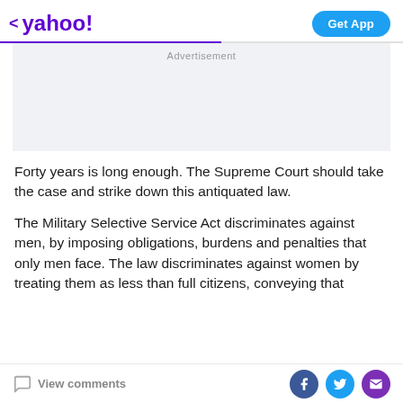< yahoo! | Get App
[Figure (other): Advertisement placeholder box with light grey background]
Forty years is long enough. The Supreme Court should take the case and strike down this antiquated law.
The Military Selective Service Act discriminates against men, by imposing obligations, burdens and penalties that only men face. The law discriminates against women by treating them as less than full citizens, conveying that
View comments | Facebook | Twitter | Mail